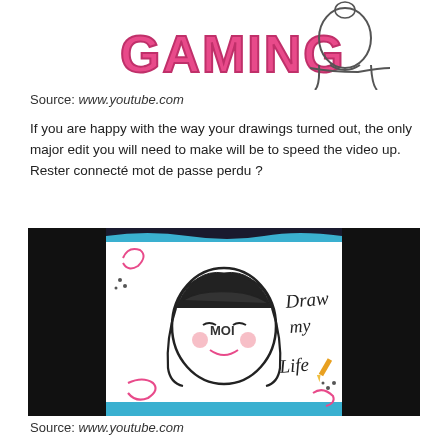[Figure (illustration): Top portion showing a pink 'GAMING' logo text on the left and a simple line drawing of a person/character on the right]
Source: www.youtube.com
If you are happy with the way your drawings turned out, the only major edit you will need to make will be to speed the video up. Rester connecté mot de passe perdu ?
[Figure (photo): Screenshot of a 'Draw my Life' video on a whiteboard, showing a drawn girl character with the text 'MOI' and 'Draw my Life' written on a whiteboard, with a blue border, black bars on sides]
Source: www.youtube.com